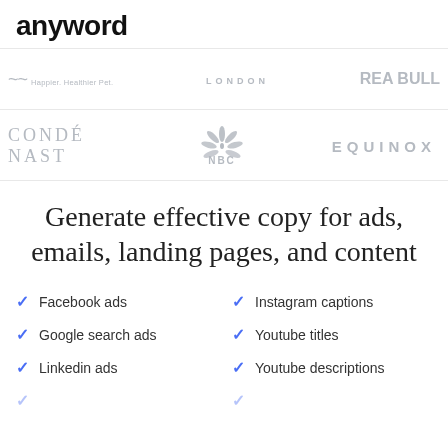anyword
[Figure (logo): Logo strip with Happier Healthier Pet, LONDON, RedBull brand logos in gray]
[Figure (logo): Logo strip with CONDÉ NAST, NBC peacock logo, EQUINOX brand logos in gray]
Generate effective copy for ads, emails, landing pages, and content
Facebook ads
Instagram captions
Google search ads
Youtube titles
Linkedin ads
Youtube descriptions